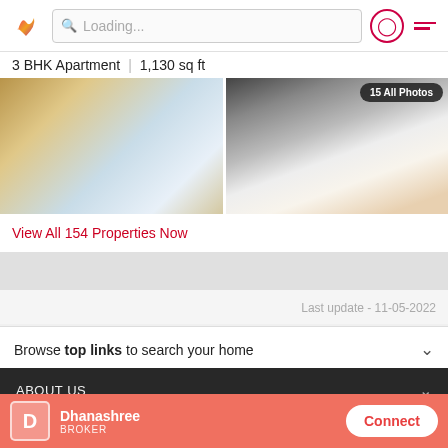Loading...
3 BHK Apartment | 1,130 sq ft
[Figure (photo): Two property interior photos side by side: living room with sofa and furniture (left), kitchen table with mug and fruits (right). Overlay button '15 All Photos' visible.]
View All 154 Properties Now
Last update - 11-05-2022
Browse top links to search your home
ABOUT US
QUICK LINKS
Dhanashree
BROKER
Connect